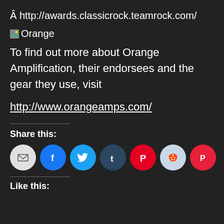Â http://awards.classicrock.teamrock.com/
[Figure (illustration): Broken image placeholder with label 'Orange']
To find out more about Orange Amplification, their endorsees and the gear they use, visit
http://www.orangeamps.com/
Share this:
[Figure (infographic): Share icons row: Email, Facebook, Twitter, Tumblr, Pinterest, Reddit, Pocket]
Like this: